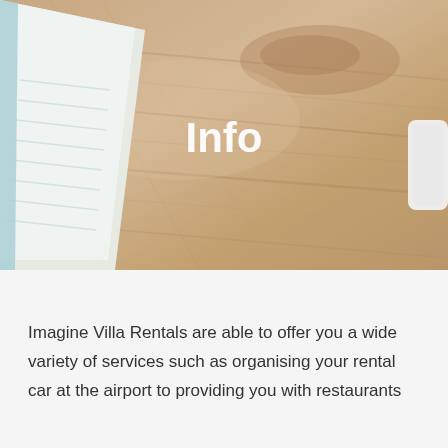[Figure (photo): Overhead view of a light wood grain desk surface with a notebook with blue cover on the left side and a white device/remote on the right side. The word 'Info' is overlaid in bold white text centered on the image.]
Info
Imagine Villa Rentals are able to offer you a wide variety of services such as organising your rental car at the airport to providing you with restaurants